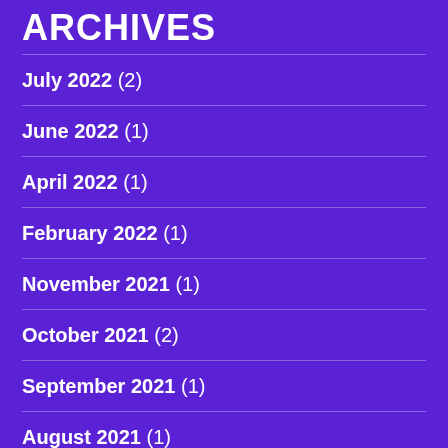ARCHIVES
July 2022 (2)
June 2022 (1)
April 2022 (1)
February 2022 (1)
November 2021 (1)
October 2021 (2)
September 2021 (1)
August 2021 (1)